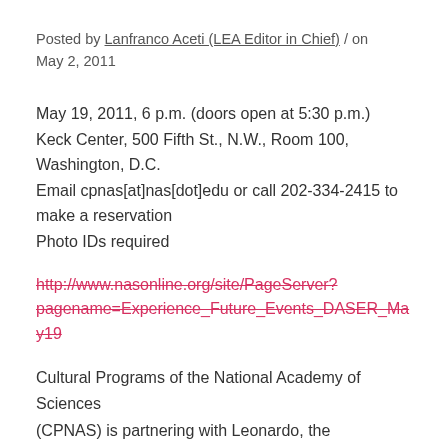Posted by Lanfranco Aceti (LEA Editor in Chief) / on May 2, 2011
May 19, 2011, 6 p.m. (doors open at 5:30 p.m.)
Keck Center, 500 Fifth St., N.W., Room 100, Washington, D.C.
Email cpnas[at]nas[dot]edu or call 202-334-2415 to make a reservation
Photo IDs required
http://www.nasonline.org/site/PageServer?pagename=Experience_Future_Events_DASER_May19
Cultural Programs of the National Academy of Sciences (CPNAS) is partnering with Leonardo, the International Society for the Arts, Sciences, and Technology, to present DC Art and Science Evening Rendezvous